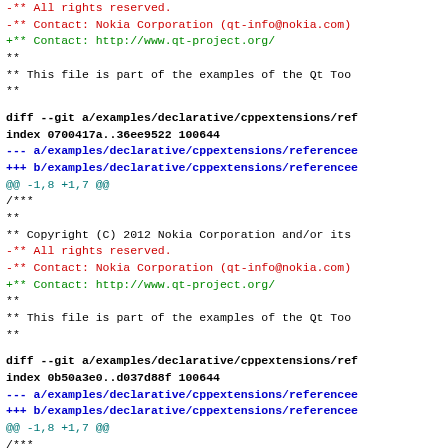diff --git a/examples/declarative/cppextensions/ref
index 0700417a..36ee9522 100644
--- a/examples/declarative/cppextensions/referencee
+++ b/examples/declarative/cppextensions/referencee
@@ -1,8 +1,7 @@
 /***
  **
  ** Copyright (C) 2012 Nokia Corporation and/or its
 -** All rights reserved.
 -** Contact: Nokia Corporation (qt-info@nokia.com)
 +** Contact: http://www.qt-project.org/
  **
  ** This file is part of the examples of the Qt Too
  **
diff --git a/examples/declarative/cppextensions/ref
index 0b50a3e0..d037d88f 100644
--- a/examples/declarative/cppextensions/referencee
+++ b/examples/declarative/cppextensions/referencee
@@ -1,8 +1,7 @@
 /***
  **
  ** Copyright (C) 2012 Nokia Corporation and/or its
 -** All rights reserved.